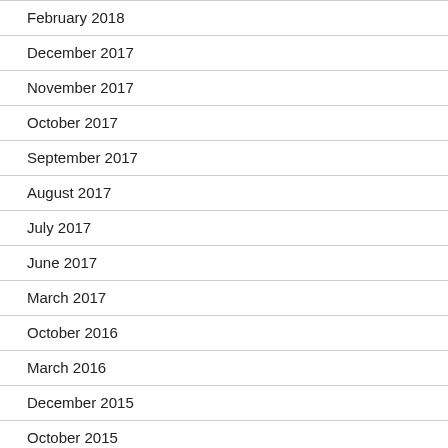February 2018
December 2017
November 2017
October 2017
September 2017
August 2017
July 2017
June 2017
March 2017
October 2016
March 2016
December 2015
October 2015